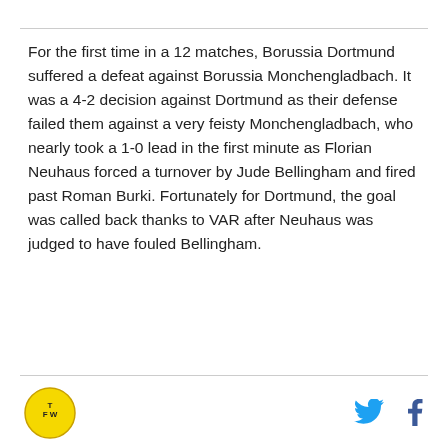For the first time in a 12 matches, Borussia Dortmund suffered a defeat against Borussia Monchengladbach. It was a 4-2 decision against Dortmund as their defense failed them against a very feisty Monchengladbach, who nearly took a 1-0 lead in the first minute as Florian Neuhaus forced a turnover by Jude Bellingham and fired past Roman Burki. Fortunately for Dortmund, the goal was called back thanks to VAR after Neuhaus was judged to have fouled Bellingham.
[Figure (logo): Round yellow logo with 'TFW' text inside]